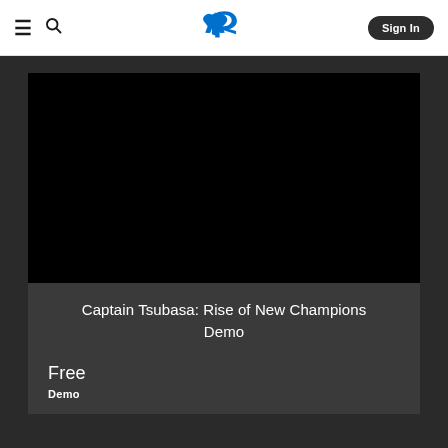PlayStation Store navigation header with menu, search, PlayStation logo, and Sign In button
[Figure (screenshot): Black video/media player area for Captain Tsubasa: Rise of New Champions Demo]
Captain Tsubasa: Rise of New Champions Demo
Free
Demo